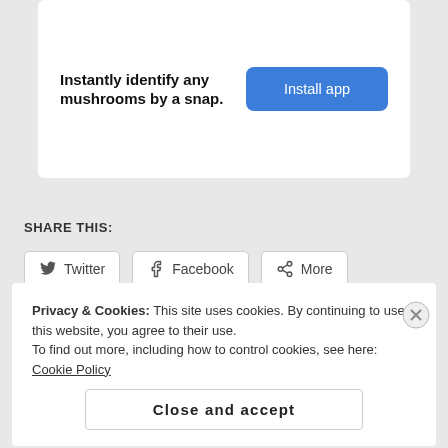Instantly identify any mushrooms by a snap.
Install app
SHARE THIS:
Twitter
Facebook
More
Loading...
Privacy & Cookies: This site uses cookies. By continuing to use this website, you agree to their use. To find out more, including how to control cookies, see here: Cookie Policy
Close and accept